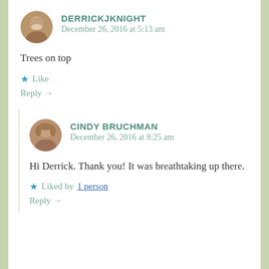DERRICKJKNIGHT
December 26, 2016 at 5:13 am
Trees on top
★ Like
Reply →
CINDY BRUCHMAN
December 26, 2016 at 8:25 am
Hi Derrick. Thank you! It was breathtaking up there.
★ Liked by 1 person
Reply →